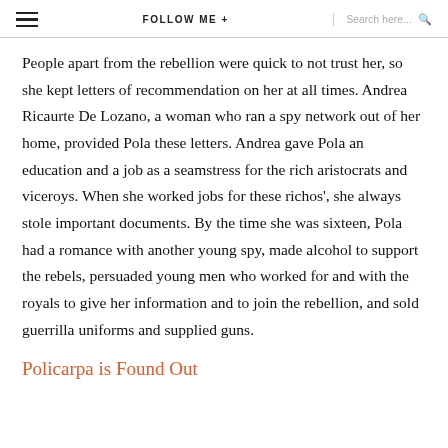FOLLOW ME + | Search here...
People apart from the rebellion were quick to not trust her, so she kept letters of recommendation on her at all times. Andrea Ricaurte De Lozano, a woman who ran a spy network out of her home, provided Pola these letters. Andrea gave Pola an education and a job as a seamstress for the rich aristocrats and viceroys. When she worked jobs for these richos', she always stole important documents. By the time she was sixteen, Pola had a romance with another young spy, made alcohol to support the rebels, persuaded young men who worked for and with the royals to give her information and to join the rebellion, and sold guerrilla uniforms and supplied guns.
Policarpa is Found Out